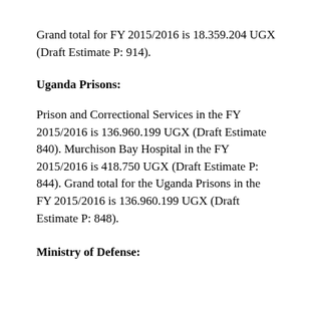Grand total for FY 2015/2016 is 18.359.204 UGX (Draft Estimate P: 914).
Uganda Prisons:
Prison and Correctional Services in the FY 2015/2016 is 136.960.199 UGX (Draft Estimate 840). Murchison Bay Hospital in the FY 2015/2016 is 418.750 UGX (Draft Estimate P: 844). Grand total for the Uganda Prisons in the FY 2015/2016 is 136.960.199 UGX (Draft Estimate P: 848).
Ministry of Defense: